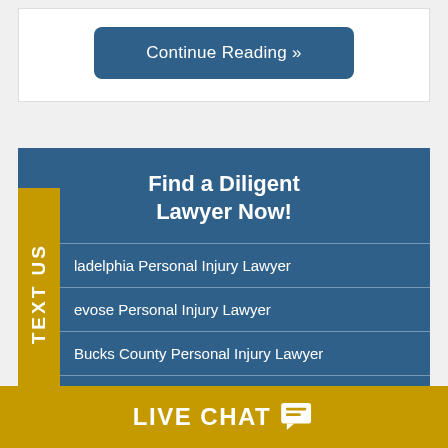Continue Reading »
Find a Diligent Lawyer Now!
ladelphia Personal Injury Lawyer
evose Personal Injury Lawyer
Bucks County Personal Injury Lawyer
Bensalem Personal Injury Lawyer
Middletown Personal Injury Lawyer
Levittown Personal Injury Lawyer
LIVE CHAT